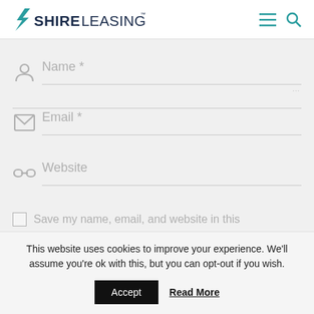[Figure (logo): Shire Leasing logo with teal lightning bolt icon and bold text SHIRE LEASING with trademark symbol, plus hamburger menu and search icons on the right]
[Figure (screenshot): Web form with Name, Email, and Website fields plus a partially visible checkbox row for saving name, email and website]
This website uses cookies to improve your experience. We'll assume you're ok with this, but you can opt-out if you wish.
Accept
Read More